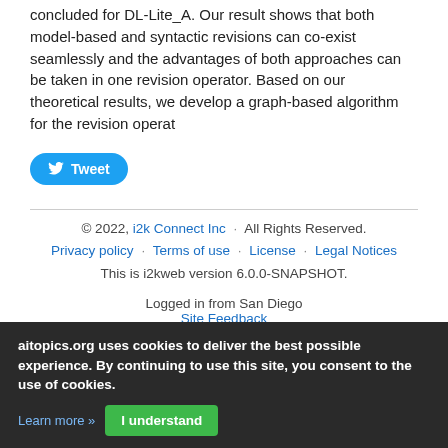concluded for DL-Lite_A. Our result shows that both model-based and syntactic revisions can co-exist seamlessly and the advantages of both approaches can be taken in one revision operator. Based on our theoretical results, we develop a graph-based algorithm for the revision operat
[Figure (other): Tweet button - blue rounded button with Twitter bird icon and 'Tweet' text]
© 2022, i2k Connect Inc · All Rights Reserved. Privacy policy · Terms of use · License · Legal Notices This is i2kweb version 6.0.0-SNAPSHOT. Logged in from San Diego Site Feedback
aitopics.org uses cookies to deliver the best possible experience. By continuing to use this site, you consent to the use of cookies.
Learn more » I understand